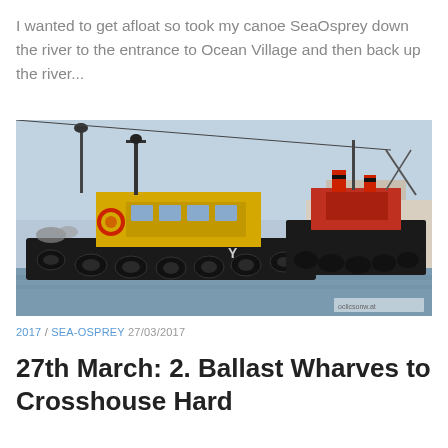I wanted to get afloat so took my canoe SeaOsprey down the river to the entrance to Ocean Village and then back up the river...
[Figure (photo): Two tugboats moored at a wharf. The foreground boat is yellow and black with rubber tyre fenders along its hull. A second red and black tugboat is visible behind it. The background shows a pale blue sky and what appears to be a waterfront industrial area.]
2017 / SEA-OSPREY 27/03/2017
27th March: 2. Ballast Wharves to Crosshouse Hard